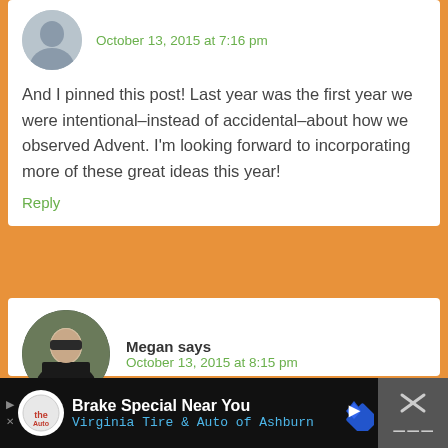October 13, 2015 at 7:16 pm
And I pinned this post! Last year was the first year we were intentional–instead of accidental–about how we observed Advent. I'm looking forward to incorporating more of these great ideas this year!
Reply
Megan says
October 13, 2015 at 8:15 pm
I love their Easter Egg votives!!
Brake Special Near You
Virginia Tire & Auto of Ashburn